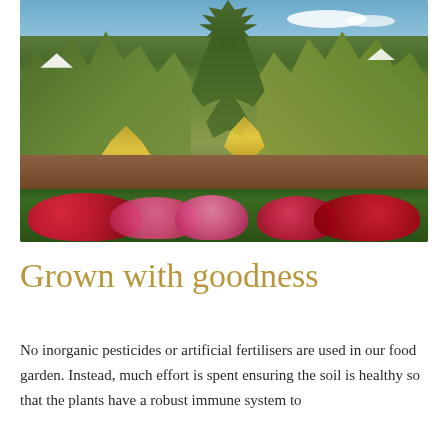[Figure (photo): Outdoor garden photo showing tall green leafy plants (artichokes and other vegetables) in the center and background, with vibrant red and pink flowers in the foreground border, brown soil visible, blue sky with light clouds above, and white parasol umbrellas visible in background. A dark greenhouse structure is visible at upper right.]
Grown with goodness
No inorganic pesticides or artificial fertilisers are used in our food garden. Instead, much effort is spent ensuring the soil is healthy so that the plants have a robust immune system to